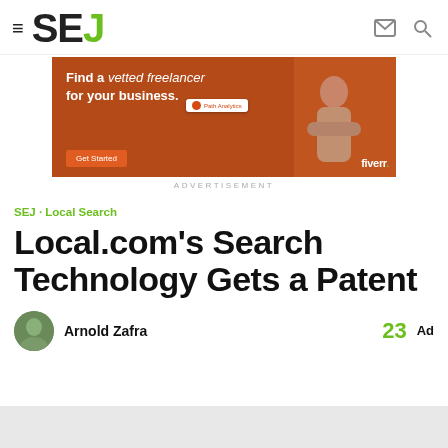SEJ
[Figure (illustration): Fiverr advertisement banner: orange-brown background, woman in turtleneck, text 'Find a vetted freelancer for your business.' with Get Started button and Fiverr logo]
ADVERTISEMENT
SEJ · Local Search
Local.com's Search Technology Gets a Patent
Arnold Zafra
23 Ad